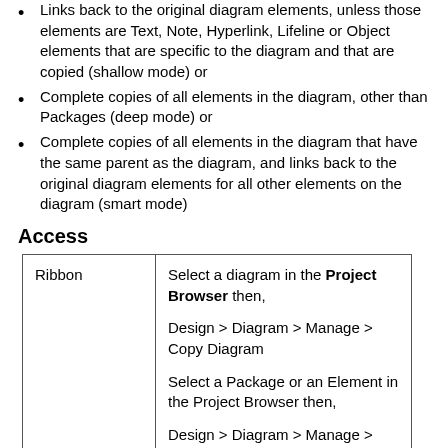Links back to the original diagram elements, unless those elements are Text, Note, Hyperlink, Lifeline or Object elements that are specific to the diagram and that are copied (shallow mode) or
Complete copies of all elements in the diagram, other than Packages (deep mode) or
Complete copies of all elements in the diagram that have the same parent as the diagram, and links back to the original diagram elements for all other elements on the diagram (smart mode)
Access
| Ribbon |  |
| --- | --- |
| Ribbon | Select a diagram in the Project Browser then,

Design > Diagram > Manage > Copy Diagram

Select a Package or an Element in the Project Browser then,

Design > Diagram > Manage > Paste Diagram |